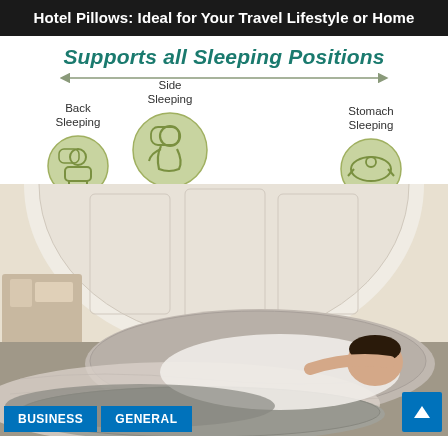Hotel Pillows: Ideal for Your Travel Lifestyle or Home
[Figure (infographic): Infographic showing a woman sleeping on her side on a large body pillow. Three circular green icons label the sleeping positions supported: Back Sleeping (left), Side Sleeping (center, larger), and Stomach Sleeping (right). A horizontal arrow spans the top connecting the positions. Title reads 'Supports all Sleeping Positions'.]
Supports all Sleeping Positions
Back Sleeping
Side Sleeping
Stomach Sleeping
BUSINESS
GENERAL